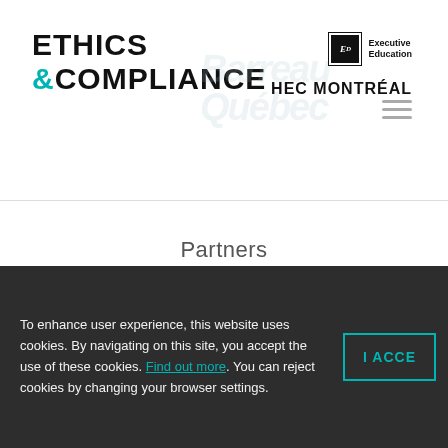[Figure (logo): Ethics & Compliance with teal ampersand, watermark text 'Barreau Quebec' in background]
[Figure (logo): Executive Education HEC Montréal logo with box icon]
Partners
[Figure (logo): Osler Lawyers logo in serif font]
To enhance user experience, this website uses cookies. By navigating on this site, you accept the use of these cookies. Find out more. You can reject cookies by changing your browser settings.
I ACCE